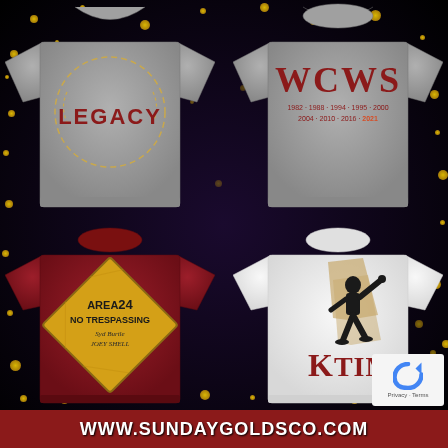[Figure (illustration): Promotional image showing four branded t-shirts on a dark sparkly background. Top-left: gray shirt (back view) with softball/baseball graphic and 'LEGACY' text. Top-right: gray shirt (front view) with 'WCWS' in maroon letters and year list. Bottom-left: maroon shirt with yellow diamond 'AREA 24 NO TRESPASSING' warning sign. Bottom-right: white shirt with softball pitcher silhouette and 'K TIME' text in maroon.]
WWW.SUNDAYGOLDSCO.COM